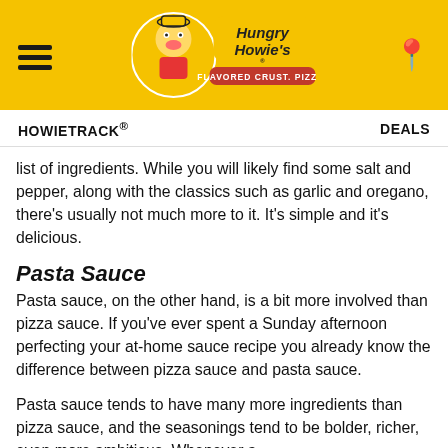Hungry Howie's — FLAVORED CRUST. PIZZA.
HOWIETRACK® | DEALS
list of ingredients. While you will likely find some salt and pepper, along with the classics such as garlic and oregano, there's usually not much more to it. It's simple and it's delicious.
Pasta Sauce
Pasta sauce, on the other hand, is a bit more involved than pizza sauce. If you've ever spent a Sunday afternoon perfecting your at-home sauce recipe you already know the difference between pizza sauce and pasta sauce.
Pasta sauce tends to have many more ingredients than pizza sauce, and the seasonings tend to be bolder, richer, even more ambitious. Whenever a...